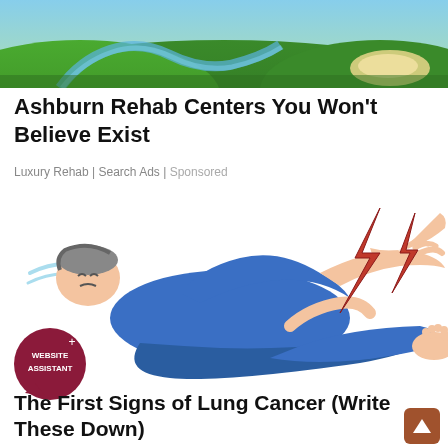[Figure (photo): Aerial view of a green golf course with a stream and sand bunker]
Ashburn Rehab Centers You Won't Believe Exist
Luxury Rehab | Search Ads | Sponsored
[Figure (illustration): Illustration of a person in blue clothing lying down in pain, with lightning bolt symbols near their leg, and a Website Assistant badge in the lower left]
The First Signs of Lung Cancer (Write These Down)